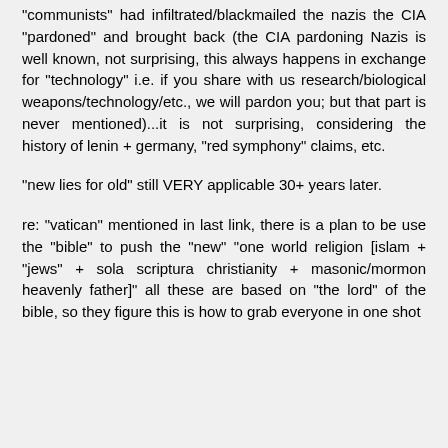"communists" had infiltrated/blackmailed the nazis the CIA "pardoned" and brought back (the CIA pardoning Nazis is well known, not surprising, this always happens in exchange for "technology" i.e. if you share with us research/biological weapons/technology/etc., we will pardon you; but that part is never mentioned)...it is not surprising, considering the history of lenin + germany, "red symphony" claims, etc.
"new lies for old" still VERY applicable 30+ years later.
re: "vatican" mentioned in last link, there is a plan to be use the "bible" to push the "new" "one world religion [islam + "jews" + sola scriptura christianity + masonic/mormon heavenly father]" all these are based on "the lord" of the bible, so they figure this is how to grab everyone in one shot